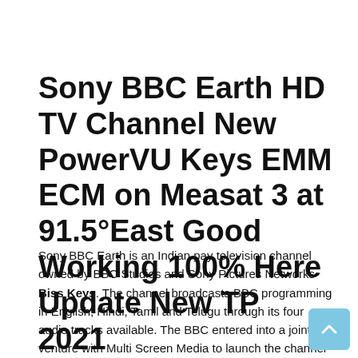Sony BBC Earth HD TV Channel New PowerVU Keys EMM ECM on Measat 3 at 91.5°East Good Working 100% Here Update New TP 2021
Sony BBC Earth is an Indian pay television channel owned by BBC Studios and Sony Pictures Networks Biss Keys. The channel broadcasts BBC programming in English, Hindi, Tamil and Telugu through its four audio tracks available. The BBC entered into a joint venture with Multi Screen Media to launch the channel in India, which was finally launched on 6 March 2017, following regulatory approval of the joint venture.